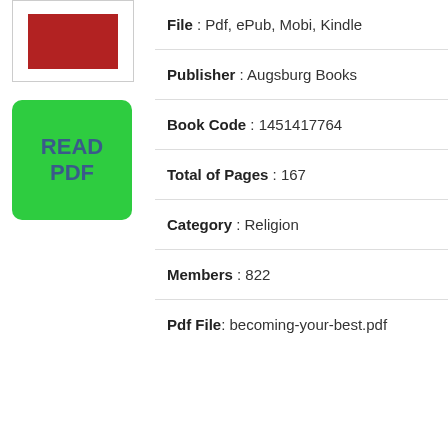[Figure (illustration): Book thumbnail showing a red cover]
[Figure (illustration): Green READ PDF button]
File : Pdf, ePub, Mobi, Kindle
Publisher : Augsburg Books
Book Code : 1451417764
Total of Pages : 167
Category : Religion
Members : 822
Pdf File: becoming-your-best.pdf